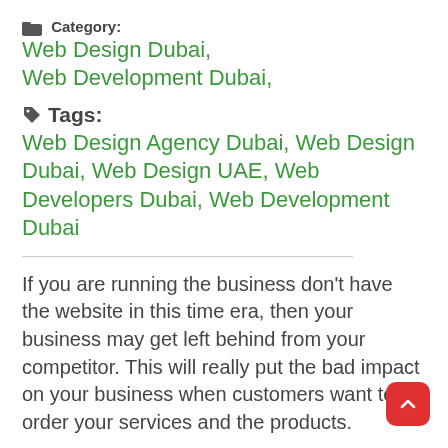Category: Web Design Dubai, Web Development Dubai,
Tags: Web Design Agency Dubai, Web Design Dubai, Web Design UAE, Web Developers Dubai, Web Development Dubai
If you are running the business don't have the website in this time era, then your business may get left behind from your competitor. This will really put the bad impact on your business when customers want to order your services and the products.